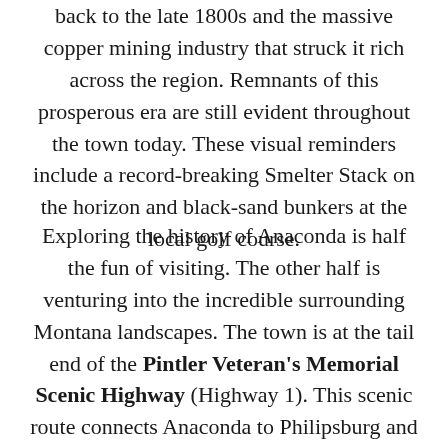back to the late 1800s and the massive copper mining industry that struck it rich across the region. Remnants of this prosperous era are still evident throughout the town today. These visual reminders include a record-breaking Smelter Stack on the horizon and black-sand bunkers at the local golf course.
Exploring the history of Anaconda is half the fun of visiting. The other half is venturing into the incredible surrounding Montana landscapes. The town is at the tail end of the Pintler Veteran's Memorial Scenic Highway (Highway 1). This scenic route connects Anaconda to Philipsburg and several adventure outlets within Beaverhead-Deerlodge National Forest